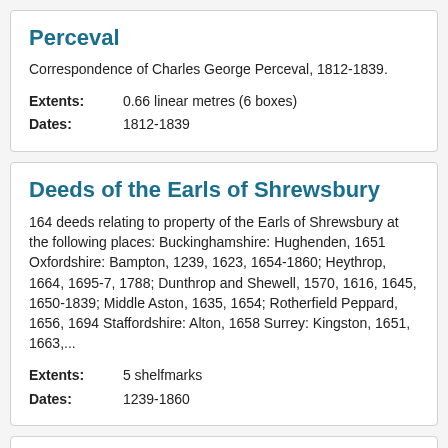Correspondence of Charles George Perceval
Correspondence of Charles George Perceval, 1812-1839.
Extents: 0.66 linear metres (6 boxes)
Dates: 1812-1839
Deeds of the Earls of Shrewsbury
164 deeds relating to property of the Earls of Shrewsbury at the following places: Buckinghamshire: Hughenden, 1651 Oxfordshire: Bampton, 1239, 1623, 1654-1860; Heythrop, 1664, 1695-7, 1788; Dunthrop and Shewell, 1570, 1616, 1645, 1650-1839; Middle Aston, 1635, 1654; Rotherfield Peppard, 1656, 1694 Staffordshire: Alton, 1658 Surrey: Kingston, 1651, 1663,...
Extents: 5 shelfmarks
Dates: 1239-1860
Domestic account book of George